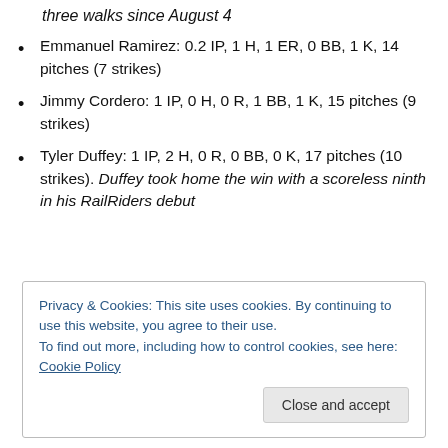three walks since August 4
Emmanuel Ramirez: 0.2 IP, 1 H, 1 ER, 0 BB, 1 K, 14 pitches (7 strikes)
Jimmy Cordero: 1 IP, 0 H, 0 R, 1 BB, 1 K, 15 pitches (9 strikes)
Tyler Duffey: 1 IP, 2 H, 0 R, 0 BB, 0 K, 17 pitches (10 strikes). Duffey took home the win with a scoreless ninth in his RailRiders debut
Privacy & Cookies: This site uses cookies. By continuing to use this website, you agree to their use.
To find out more, including how to control cookies, see here: Cookie Policy